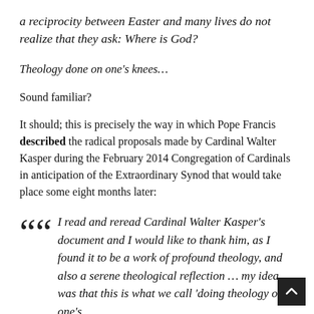a reciprocity between Easter and many lives do not realize that they ask: Where is God?
Theology done on one’s knees…
Sound familiar?
It should; this is precisely the way in which Pope Francis described the radical proposals made by Cardinal Walter Kasper during the February 2014 Congregation of Cardinals in anticipation of the Extraordinary Synod that would take place some eight months later:
““ I read and reread Cardinal Walter Kasper’s document and I would like to thank him, as I found it to be a work of profound theology, and also a serene theological reflection … my idea was that this is what we call ‘doing theology on one’s